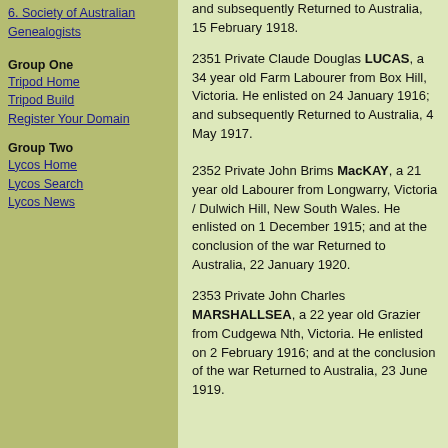6. Society of Australian Genealogists
Group One
Tripod Home
Tripod Build
Register Your Domain
Group Two
Lycos Home
Lycos Search
Lycos News
and subsequently Returned to Australia, 15 February 1918.
2351 Private Claude Douglas LUCAS, a 34 year old Farm Labourer from Box Hill, Victoria. He enlisted on 24 January 1916; and subsequently Returned to Australia, 4 May 1917.
2352 Private John Brims MacKAY, a 21 year old Labourer from Longwarry, Victoria / Dulwich Hill, New South Wales. He enlisted on 1 December 1915; and at the conclusion of the war Returned to Australia, 22 January 1920.
2353 Private John Charles MARSHALLSEA, a 22 year old Grazier from Cudgewa Nth, Victoria. He enlisted on 2 February 1916; and at the conclusion of the war Returned to Australia, 23 June 1919.